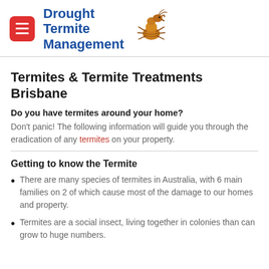Drought Termite Management
Termites & Termite Treatments Brisbane
Do you have termites around your home?
Don't panic! The following information will guide you through the eradication of any termites on your property.
Getting to know the Termite
There are many species of termites in Australia, with 6 main families on 2 of which cause most of the damage to our homes and property.
Termites are a social insect, living together in colonies than can grow to huge numbers.